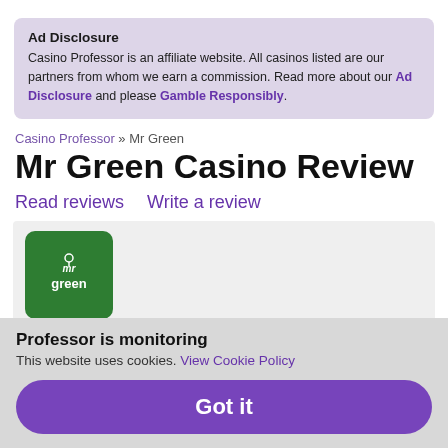Ad Disclosure
Casino Professor is an affiliate website. All casinos listed are our partners from whom we earn a commission. Read more about our Ad Disclosure and please Gamble Responsibly.
Casino Professor » Mr Green
Mr Green Casino Review
Read reviews   Write a review
[Figure (logo): Mr Green casino logo — green rounded square with 'mr green' text in white]
[Figure (photo): Partially visible character in a dark suit and green bowler hat]
Professor is monitoring
This website uses cookies. View Cookie Policy
Got it